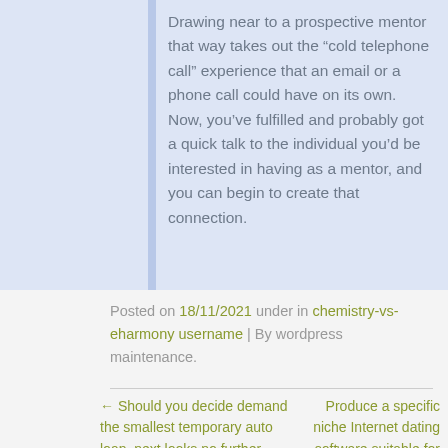Drawing near to a prospective mentor that way takes out the “cold telephone call” experience that an email or a phone call could have on its own. Now, you’ve fulfilled and probably got a quick talk to the individual you’d be interested in having as a mentor, and you can begin to create that connection.
Posted on 18/11/2021 under in chemistry-vs-eharmony username | By wordpress maintenance.
← Should you decide demand the smallest temporary auto loan, next looks no further.
Produce a specific niche Internet dating software suitable for Marriage-Minded Singles. JWed boosts Down on the Jewish-Only goal content